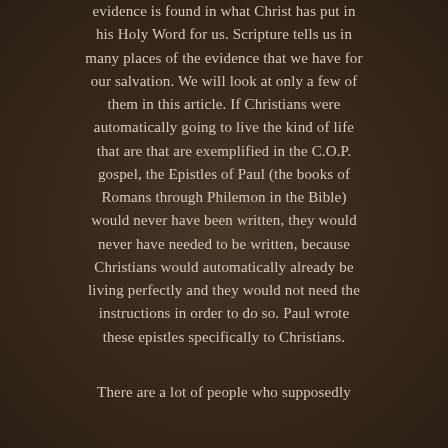evidence is found in what Christ has put in his Holy Word for us. Scripture tells us in many places of the evidence that we have for our salvation. We will look at only a few of them in this article. If Christians were automatically going to live the kind of life that are that are exemplified in the C.O.P. gospel, the Epistles of Paul (the books of Romans through Philemon in the Bible) would never have been written, they would never have needed to be written, because Christians would automatically already be living perfectly and they would not need the instructions in order to do so. Paul wrote these epistles specifically to Christians.
There are a lot of people who supposedly